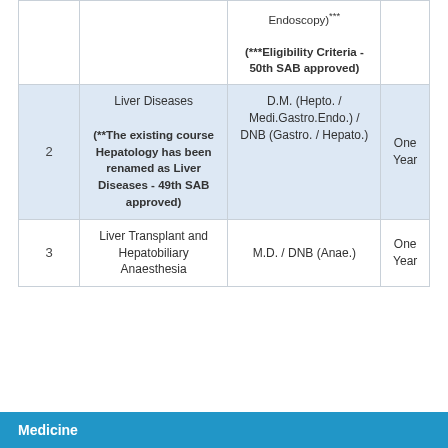| No. | Course | Eligibility | Duration |
| --- | --- | --- | --- |
|  | Endoscopy)***
(***Eligibility Criteria - 50th SAB approved) |  |  |
| 2 | Liver Diseases
(**The existing course Hepatology has been renamed as Liver Diseases - 49th SAB approved) | D.M. (Hepto. / Medi.Gastro.Endo.) / DNB (Gastro. / Hepato.) | One Year |
| 3 | Liver Transplant and Hepatobiliary Anaesthesia | M.D. / DNB (Anae.) | One Year |
Medicine